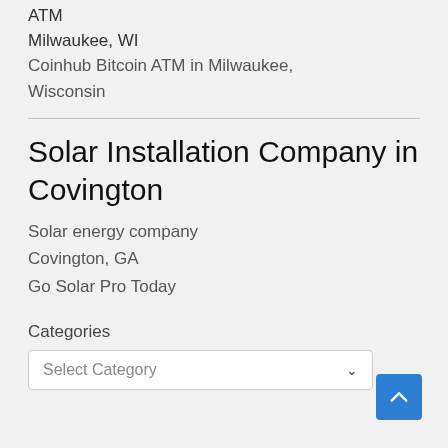ATM
Milwaukee, WI
Coinhub Bitcoin ATM in Milwaukee, Wisconsin
Solar Installation Company in Covington
Solar energy company
Covington, GA
Go Solar Pro Today
Categories
Select Category